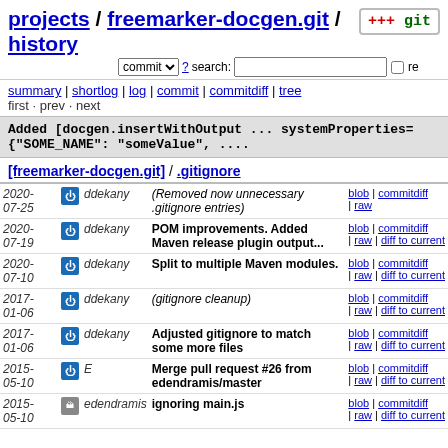projects / freemarker-docgen.git / history
commit ? search: re
summary | shortlog | log | commit | commitdiff | tree
first · prev · next
Added [docgen.insertWithOutput ... systemProperties={"SOME_NAME": "someValue", ....
[freemarker-docgen.git] / .gitignore
| Date | Author | Message | Links |
| --- | --- | --- | --- |
| 2020-07-25 | ddekany | (Removed now unnecessary .gitignore entries) | blob | commitdiff | raw |
| 2020-07-19 | ddekany | POM improvements. Added Maven release plugin output... | blob | commitdiff | raw | diff to current |
| 2020-07-10 | ddekany | Split to multiple Maven modules. | blob | commitdiff | raw | diff to current |
| 2017-01-06 | ddekany | (gitignore cleanup) | blob | commitdiff | raw | diff to current |
| 2017-01-06 | ddekany | Adjusted gitignore to match some more files | blob | commitdiff | raw | diff to current |
| 2015-05-10 | E | Merge pull request #26 from edendramis/master | blob | commitdiff | raw | diff to current |
| 2015-05-10 | edendramis | ignoring main.js | blob | commitdiff | raw | diff to current |